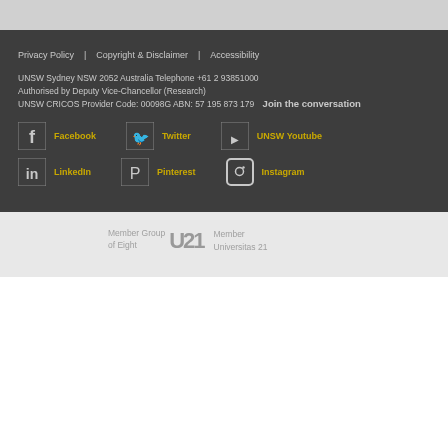Privacy Policy | Copyright & Disclaimer | Accessibility
UNSW Sydney NSW 2052 Australia Telephone +61 2 93851000
Authorised by Deputy Vice-Chancellor (Research)
UNSW CRICOS Provider Code: 00098G ABN: 57 195 873 179
Join the conversation
[Figure (other): Social media icons: Facebook, Twitter, UNSW Youtube, LinkedIn, Pinterest, Instagram]
Member Group of Eight
Member Universitas 21